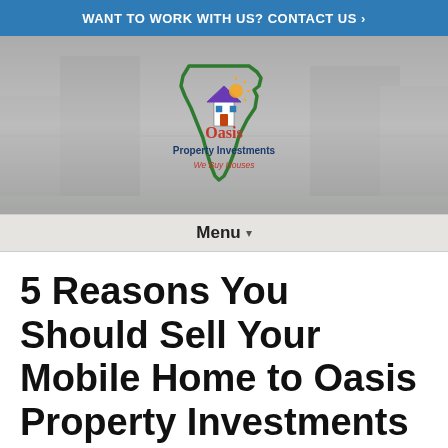WANT TO WORK WITH US? CONTACT US ›
[Figure (logo): Oasis Property Investments We Buy Houses logo — outline of Florida state in green with a house icon showing a purple roof and sun, text 'Oasis' in red, 'Property Investments' in dark blue, 'We Buy Houses' in red/dark red]
Menu ▾
5 Reasons You Should Sell Your Mobile Home to Oasis Property Investments in Boynton